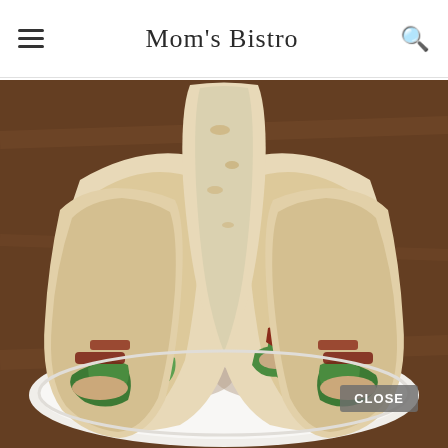Mom's Bistro
[Figure (photo): A chicken Caesar wrap sandwich cut in half and stacked on a white plate on a wooden table, showing lettuce, bacon, and grilled chicken inside a flour tortilla. A 'CLOSE' button overlay appears at the bottom right.]